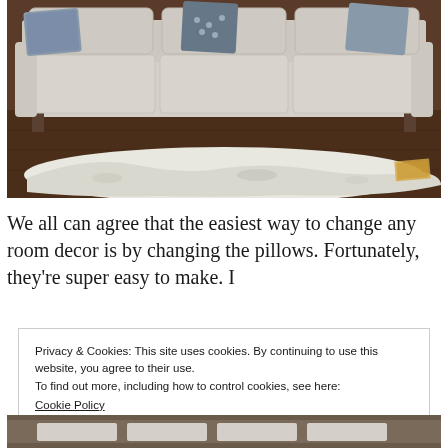[Figure (photo): Photograph of a light beige/gray sofa with decorative pillows on a dark hardwood floor with a white cowhide rug underneath]
We all can agree that the easiest way to change any room decor is by changing the pillows. Fortunately, they're super easy to make. I
Privacy & Cookies: This site uses cookies. By continuing to use this website, you agree to their use.
To find out more, including how to control cookies, see here:
Cookie Policy

Close and accept
[Figure (photo): Partial view of another sofa/room decor photo at the bottom of the page]